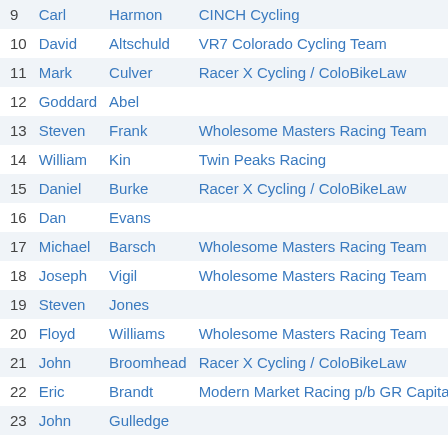| # | First | Last | Team | Time |
| --- | --- | --- | --- | --- |
| 9 | Carl | Harmon | CINCH Cycling | 43 |
| 10 | David | Altschuld | VR7 Colorado Cycling Team | 43 |
| 11 | Mark | Culver | Racer X Cycling / ColoBikeLaw | 43 |
| 12 | Goddard | Abel |  | 44 |
| 13 | Steven | Frank | Wholesome Masters Racing Team | 44 |
| 14 | William | Kin | Twin Peaks Racing | 44 |
| 15 | Daniel | Burke | Racer X Cycling / ColoBikeLaw | 44 |
| 16 | Dan | Evans |  | 44 |
| 17 | Michael | Barsch | Wholesome Masters Racing Team | 45 |
| 18 | Joseph | Vigil | Wholesome Masters Racing Team | 45 |
| 19 | Steven | Jones |  | 45 |
| 20 | Floyd | Williams | Wholesome Masters Racing Team | 46 |
| 21 | John | Broomhead | Racer X Cycling / ColoBikeLaw | 48 |
| 22 | Eric | Brandt | Modern Market Racing p/b GR Capital | 49 |
| 23 | John | Gulledge |  | 51 |